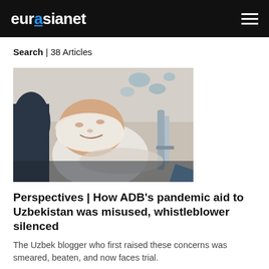eurasianet
Search | 38 Articles
[Figure (photo): A person lying in a hospital bed with bandages wrapped around their head, appearing to be injured.]
Perspectives | How ADB's pandemic aid to Uzbekistan was misused, whistleblower silenced
The Uzbek blogger who first raised these concerns was smeared, beaten, and now faces trial.
Nina Lesikhina Dec 6, 2021